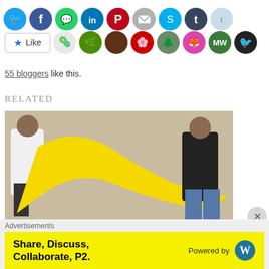[Figure (other): Row of social media share icon buttons: Twitter (blue), Facebook (blue), WhatsApp (green), LinkedIn (blue), Pinterest (red), Email (grey), Skype (blue), Tumblr (dark blue), Reddit (light blue)]
[Figure (other): Like button with star icon and a row of blogger avatar profile pictures]
55 bloggers like this.
RELATED
[Figure (photo): Photo of two people holding a large yellow fabric/cloth between them outdoors against a concrete wall]
Advertisements
[Figure (other): Yellow advertisement banner: 'Share, Discuss, Collaborate, P2.' Powered by WordPress logo]